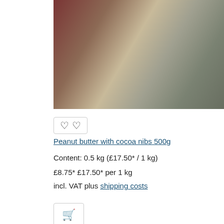[Figure (photo): Blurred close-up product photo of peanut butter with cocoa nibs, showing warm brown and khaki tones]
[Figure (other): Wishlist button with two heart outline icons inside a bordered box]
Peanut butter with cocoa nibs 500g
Content: 0.5 kg (£17.50* / 1 kg)
£8.75* £17.50* per 1 kg
incl. VAT plus shipping costs
[Figure (other): Add to cart button with shopping cart icon inside a bordered box]
New
Free shipping